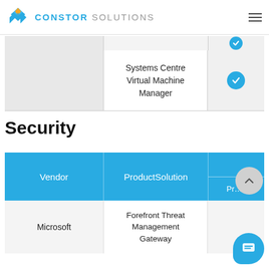CONSTOR SOLUTIONS
| Vendor | ProductSolution | Practices |
| --- | --- | --- |
|  | Systems Centre Virtual Machine Manager | ✓ |
Security
| Vendor | ProductSolution | Practices |
| --- | --- | --- |
| Microsoft | Forefront Threat Management Gateway |  |